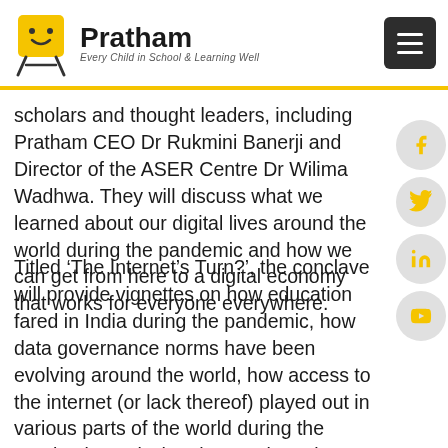Pratham — Every Child in School & Learning Well
scholars and thought leaders, including Pratham CEO Dr Rukmini Banerji and Director of the ASER Centre Dr Wilima Wadhwa. They will discuss what we learned about our digital lives around the world during the pandemic and how we can get from here to a digital economy that works for everyone everywhere.
Titled ‘The Internet’s Turn?’, the conclave will provide vignettes on how education fared in India during the pandemic, how data governance norms have been evolving around the world, how access to the internet (or lack thereof) played out in various parts of the world during the pandemic, and what the trends and patterns we see mean for our collective digital future.